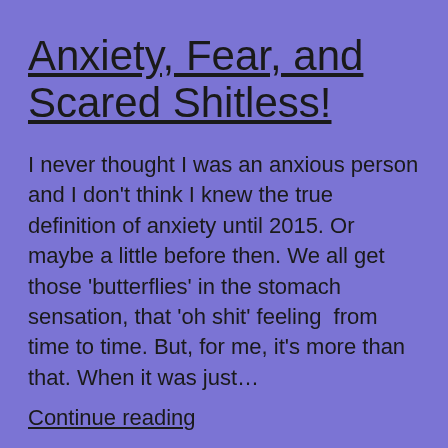Anxiety, Fear, and Scared Shitless!
I never thought I was an anxious person and I don't think I knew the true definition of anxiety until 2015. Or maybe a little before then. We all get those 'butterflies' in the stomach sensation, that 'oh shit' feeling  from time to time. But, for me, it's more than that. When it was just…
Continue reading